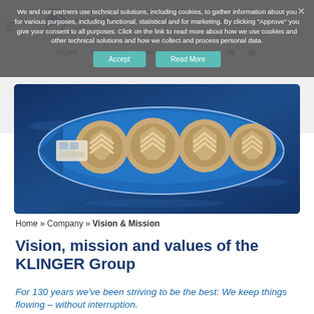We and our partners use technical solutions, including cookies, to gather information about you for various purposes, including functional, statistical and for marketing. By clicking "Approve" you give your consent to all purposes. Click on the link to read more about how we use cookies and other technical solutions and how we collect and process personal data.
HOME   CONTACT   KLINGER WORLDWIDE
[Figure (photo): Aerial/top-down 3D illustration of a tanker ship with blue hull and circular cargo tanks visible from above, on dark blue water background]
Home » Company » Vision & Mission
Vision, mission and values of the KLINGER Group
For 130 years we've been striving to be the best: We keep things flowing – without interruption.